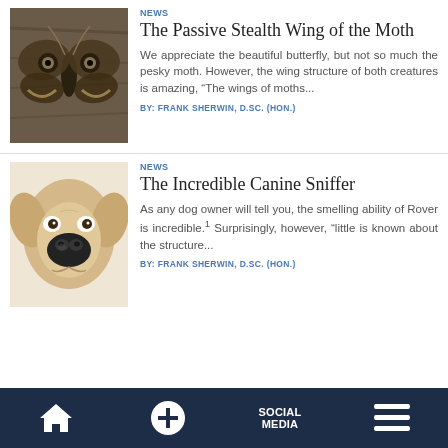NEWS
The Passive Stealth Wing of the Moth
We appreciate the beautiful butterfly, but not so much the pesky moth. However, the wing structure of both creatures is amazing, “The wings of moths...
BY: FRANK SHERWIN, D.SC. (HON.)
[Figure (photo): Close-up photo of a large moth with eye-like patterns on wings, resting on tree bark]
NEWS
The Incredible Canine Sniffer
As any dog owner will tell you, the smelling ability of Rover is incredible.¹ Surprisingly, however, “little is known about the structure...
BY: FRANK SHERWIN, D.SC. (HON.)
[Figure (photo): Close-up photo of a dog's face, pale golden/cream colored dog looking forward with large nose prominent]
HOME | + | SOCIAL MEDIA | menu